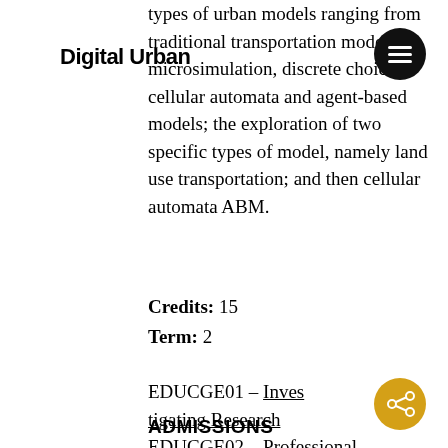Digital Urban
types of urban models ranging from traditional transportation models, microsimulation, discrete choice, cellular automata and agent-based models; the exploration of two specific types of model, namely land use transportation; and then cellular automata ABM.
Credits: 15
Term: 2
EDUCGE01 – Investigating Research
EDUCGE02 – Professional Development in Practice
ADMISSIONS